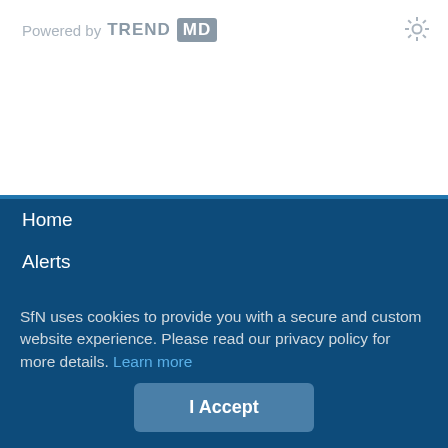Powered by TREND MD
Home
Alerts
[Figure (illustration): Social media icons: Facebook, Twitter, LinkedIn, YouTube, RSS feed — black rounded square buttons]
Content
Early Release
Current Issue
Issue Archive
Collections
Information
SfN uses cookies to provide you with a secure and custom website experience. Please read our privacy policy for more details. Learn more
I Accept